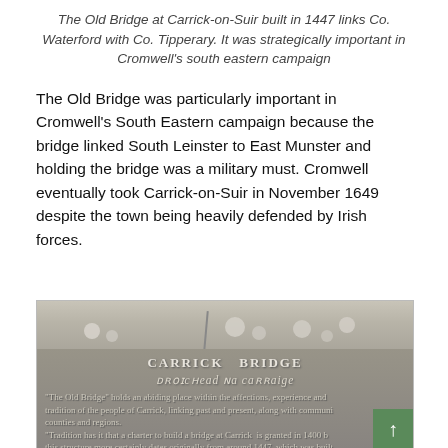The Old Bridge at Carrick-on-Suir built in 1447 links Co. Waterford with Co. Tipperary. It was strategically important in Cromwell's south eastern campaign
The Old Bridge was particularly important in Cromwell's South Eastern campaign because the bridge linked South Leinster to East Munster and holding the bridge was a military must. Cromwell eventually took Carrick-on-Suir in November 1649 despite the town being heavily defended by Irish forces.
[Figure (photo): A close-up photograph of an old stone bridge plaque/inscription stone at Carrick Bridge. The stone reads 'CARRICK BRIDGE' and 'DROICHEAD NA CARRAIGE' in Irish, with text about the Old Bridge holding an abiding place within the affections of the people of Carrick. A green scroll-to-top button is visible in the bottom right corner.]